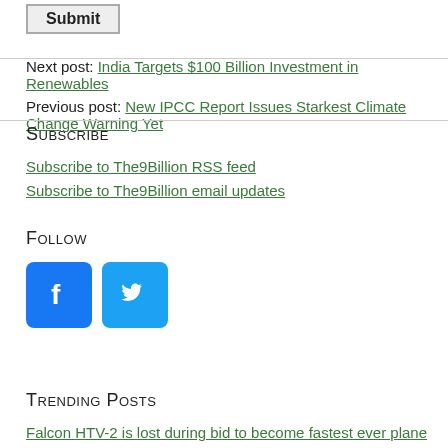Submit
Next post: India Targets $100 Billion Investment in Renewables
Previous post: New IPCC Report Issues Starkest Climate Change Warning Yet
Subscribe
Subscribe to The9Billion RSS feed
Subscribe to The9Billion email updates
Follow
[Figure (logo): Facebook and Twitter social media icon buttons]
Trending Posts
Falcon HTV-2 is lost during bid to become fastest ever plane